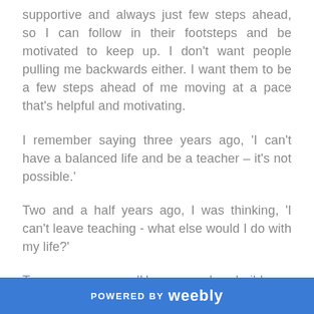supportive and always just few steps ahead, so I can follow in their footsteps and be motivated to keep up. I don't want people pulling me backwards either. I want them to be a few steps ahead of me moving at a pace that's helpful and motivating.
I remember saying three years ago, 'I can't have a balanced life and be a teacher – it's not possible.'
Two and a half years ago, I was thinking, 'I can't leave teaching - what else would I do with my life?'
Two years ago, 'How can I rebuild my confidence when I feel as low as this?!'
POWERED BY weebly